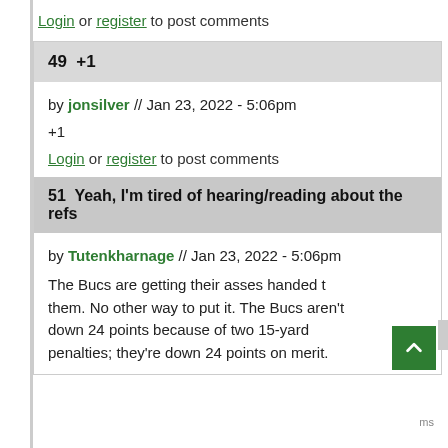Login or register to post comments
49  +1
by jonsilver // Jan 23, 2022 - 5:06pm
+1
Login or register to post comments
51  Yeah, I'm tired of hearing/reading about the refs
by Tutenkharnage // Jan 23, 2022 - 5:06pm
The Bucs are getting their asses handed to them. No other way to put it. The Bucs aren't down 24 points because of two 15-yard penalties; they're down 24 points on merit.